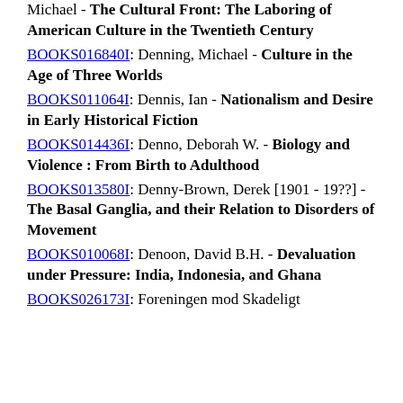Michael - The Cultural Front: The Laboring of American Culture in the Twentieth Century
BOOKS016840I: Denning, Michael - Culture in the Age of Three Worlds
BOOKS011064I: Dennis, Ian - Nationalism and Desire in Early Historical Fiction
BOOKS014436I: Denno, Deborah W. - Biology and Violence : From Birth to Adulthood
BOOKS013580I: Denny-Brown, Derek [1901 - 19??] - The Basal Ganglia, and their Relation to Disorders of Movement
BOOKS010068I: Denoon, David B.H. - Devaluation under Pressure: India, Indonesia, and Ghana
BOOKS026173I: Foreningen mod Skadeligt Bogindhold -